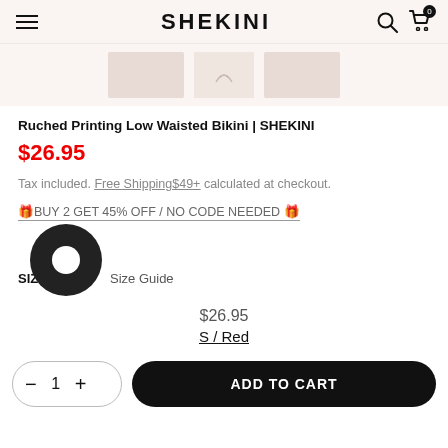SHEKINI
[Figure (screenshot): Product thumbnail images row showing three bikini product photos]
Ruched Printing Low Waisted Bikini | SHEKINI
$26.95
Tax included. Free Shipping$49+ calculated at checkout.
🎁BUY 2 GET 45% OFF / NO CODE NEEDED 🎁
SIZE  Size Guide
$26.95
S / Red